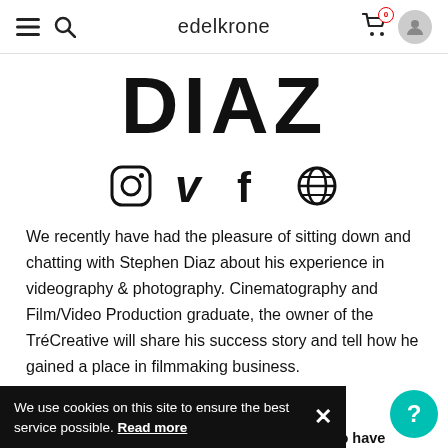edelkrone
DIAZ
[Figure (illustration): Row of social media icons: Instagram, Vimeo (v), Facebook, and a globe/web icon, all in black.]
We recently have had the pleasure of sitting down and chatting with Stephen Diaz about his experience in videography & photography. Cinematography and Film/Video Production graduate, the owner of the TréCreative will share his success story and tell how he gained a place in filmmaking business.
We use cookies on this site to ensure the best service possible. Read more
Asude: Welcome Stephen, we're re... ppy to have